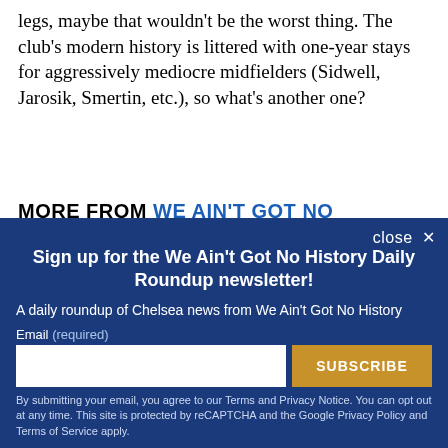legs, maybe that wouldn't be the worst thing. The club's modern history is littered with one-year stays for aggressively mediocre midfielders (Sidwell, Jarosik, Smertin, etc.), so what's another one?
MORE FROM WE AIN'T GOT NO
close ×
Sign up for the We Ain't Got No History Daily Roundup newsletter!
A daily roundup of Chelsea news from We Ain't Got No History
Email (required)
SUBSCRIBE
By submitting your email, you agree to our Terms and Privacy Notice. You can opt out at any time. This site is protected by reCAPTCHA and the Google Privacy Policy and Terms of Service apply.